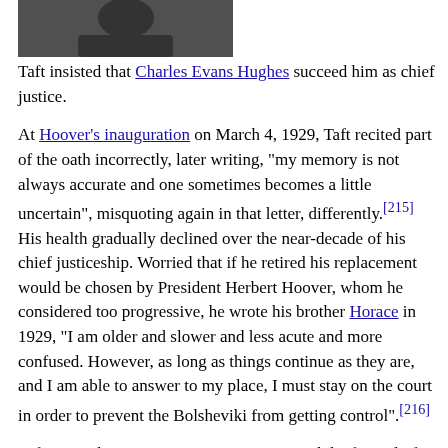[Figure (photo): Black and white photograph of a person, cropped, showing upper body/face area]
Taft insisted that Charles Evans Hughes succeed him as chief justice.
At Hoover's inauguration on March 4, 1929, Taft recited part of the oath incorrectly, later writing, "my memory is not always accurate and one sometimes becomes a little uncertain", misquoting again in that letter, differently.[215] His health gradually declined over the near-decade of his chief justiceship. Worried that if he retired his replacement would be chosen by President Herbert Hoover, whom he considered too progressive, he wrote his brother Horace in 1929, "I am older and slower and less acute and more confused. However, as long as things continue as they are, and I am able to answer to my place, I must stay on the court in order to prevent the Bolsheviki from getting control".[216]
Taft insisted on going to Cincinnati to attend the funeral of his brother Charles, who died on December 31, 1929; the strain did not improve his own health. When the court reconvened on January 6, 1930, Taft had not returned to Washington, and two opinions were delivered by Van Devanter that Taft had drafted but had been unable to complete because of his illness. Taft went to Asheville, North Carolina, for a rest, but by the end of January, he could barely speak and was suffering from hallucinations.[217] Taft